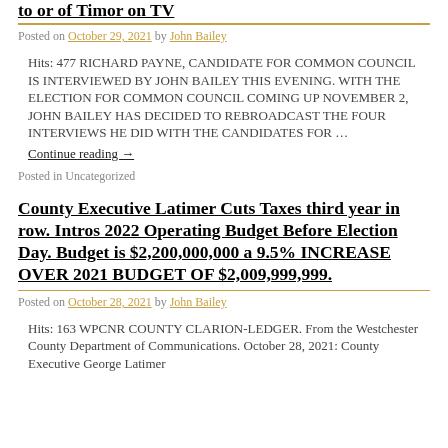to or of Timor on TV
Posted on October 29, 2021 by John Bailey
Hits: 477 RICHARD PAYNE, CANDIDATE FOR COMMON COUNCIL IS INTERVIEWED BY JOHN BAILEY THIS EVENING. WITH THE ELECTION FOR COMMON COUNCIL COMING UP NOVEMBER 2, JOHN BAILEY HAS DECIDED TO REBROADCAST THE FOUR INTERVIEWS HE DID WITH THE CANDIDATES FOR …
Continue reading →
Posted in Uncategorized
County Executive Latimer Cuts Taxes third year in row. Intros 2022 Operating Budget Before Election Day. Budget is $2,200,000,000 a 9.5% INCREASE OVER 2021 BUDGET OF $2,009,999,999.
Posted on October 28, 2021 by John Bailey
Hits: 163 WPCNR COUNTY CLARION-LEDGER. From the Westchester County Department of Communications. October 28, 2021: County Executive George Latimer